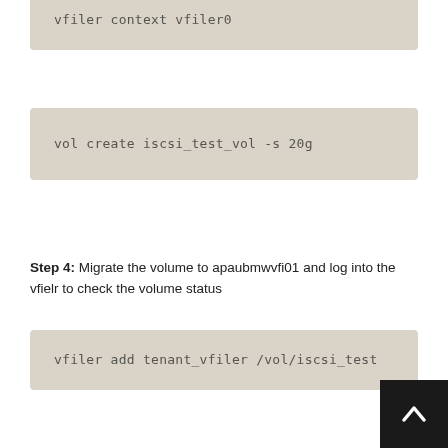vfiler context vfiler0
vol create iscsi_test_vol -s 20g
Step 4: Migrate the volume to apaubmwvfi01 and log into the vfielr to check the volume status
vfiler add tenant_vfiler /vol/iscsi_test
vfiler context tenant_vfiler